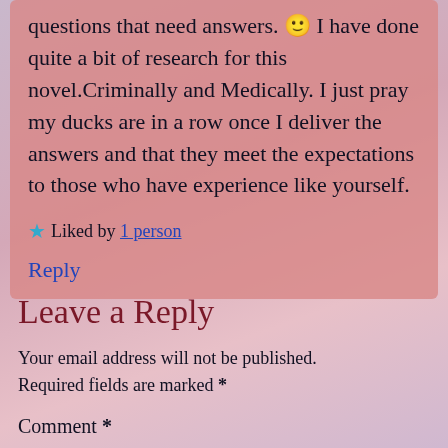Questions that need answers. 🙂 I have done quite a bit of research for this novel.Criminally and Medically. I just pray my ducks are in a row once I deliver the answers and that they meet the expectations to those who have experience like yourself.
★ Liked by 1 person
Reply
Leave a Reply
Your email address will not be published. Required fields are marked *
Comment *